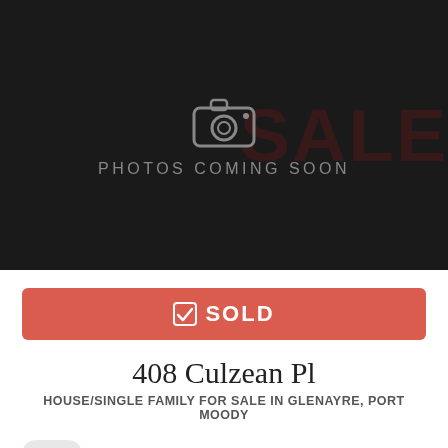[Figure (photo): Dark placeholder image with 'PHOTOS COMING SOON' text and camera icon, FOR SALE text visible in background]
✔ SOLD
408 Culzean Pl
HOUSE/SINGLE FAMILY FOR SALE IN GLENAYRE, PORT MOODY
$649,900
4 BEDS